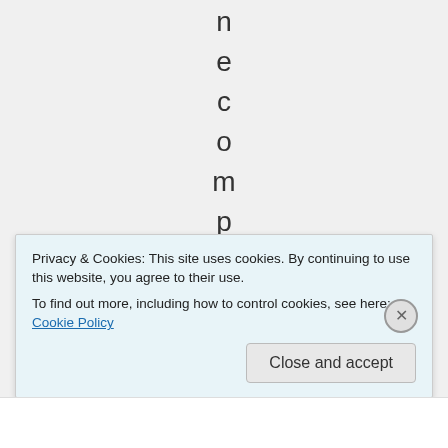necomplemen
Privacy & Cookies: This site uses cookies. By continuing to use this website, you agree to their use. To find out more, including how to control cookies, see here: Cookie Policy
Close and accept